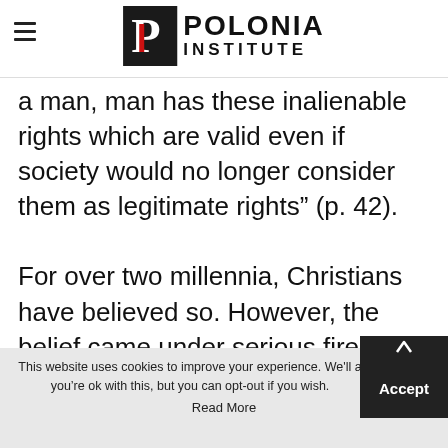POLONIA INSTITUTE
a man, man has these inalienable rights which are valid even if society would no longer consider them as legitimate rights” (p. 42).
For over two millennia, Christians have believed so. However, the belief came under serious fire first during the so-called Enlightenment some three
This website uses cookies to improve your experience. We'll a you’re ok with this, but you can opt-out if you wish.
Read More